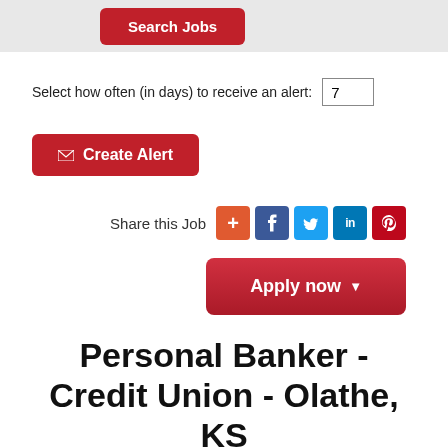Search Jobs
Select how often (in days) to receive an alert: 7
✉ Create Alert
Share this Job
Apply now ▾
Personal Banker - Credit Union - Olathe, KS
13431